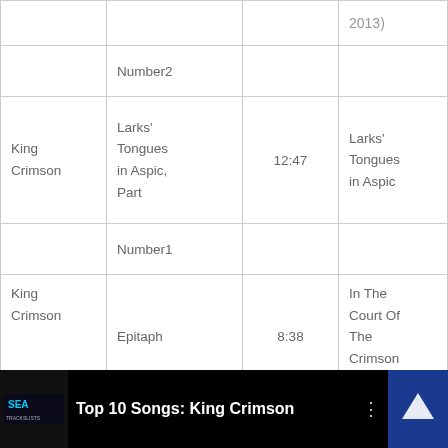| Artist | Song | Length | Album |
| --- | --- | --- | --- |
|  |  |  | 2013) |
|  | Number2 |  |  |
| King Crimson | Larks' Tongues in Aspic, Part | 12:47 | Larks' Tongues in Aspic |
|  | Number1 |  |  |
| King Crimson | Epitaph | 8:38 | In The Court Of The Crimson King |
[Figure (screenshot): YouTube video thumbnail showing 'Top 10 Songs: King Crimson' with SEA channel logo]
[Figure (infographic): Social media share bar with buttons for Twitter, Facebook, Email, WhatsApp, SMS, and More]